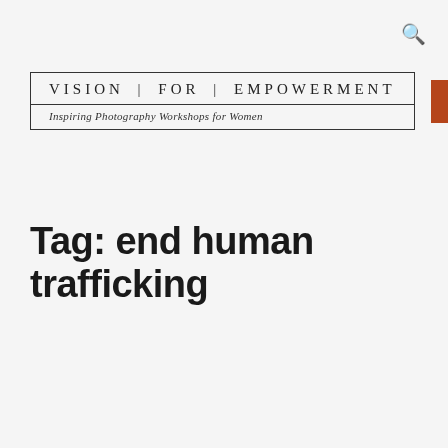[Figure (logo): Vision For Empowerment logo — bordered box with organization name and tagline 'Inspiring Photography Workshops for Women']
[Figure (other): Menu button — orange/rust colored rectangle with hamburger menu icon and 'MENU' text]
Tag: end human trafficking